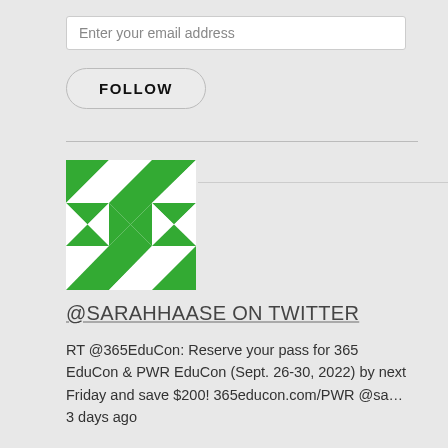Enter your email address
FOLLOW
[Figure (illustration): Green and white geometric quilt-pattern profile image for @sarahhaase Twitter account]
@SARAHHAASE ON TWITTER
RT @365EduCon: Reserve your pass for 365 EduCon & PWR EduCon (Sept. 26-30, 2022) by next Friday and save $200! 365educon.com/PWR @sa… 3 days ago
@idubbs @SPSTwinCities @jharbieh @percusn @TamaraBred @duffbert @benstori Look at all those